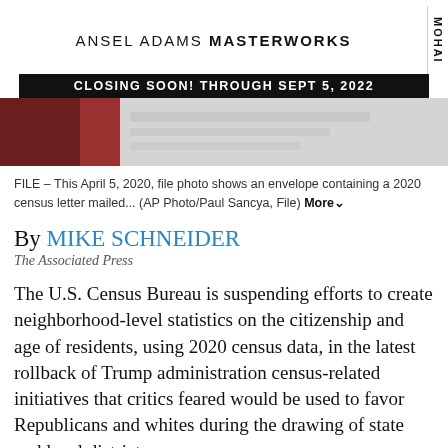[Figure (photo): Advertisement banner for Ansel Adams Masterworks exhibition at MOHAI, with text 'CLOSING SOON! THROUGH SEPT 5, 2022', followed by a photo strip showing a blurred envelope with census letter]
FILE – This April 5, 2020, file photo shows an envelope containing a 2020 census letter mailed... (AP Photo/Paul Sancya, File) More
By MIKE SCHNEIDER
The Associated Press
The U.S. Census Bureau is suspending efforts to create neighborhood-level statistics on the citizenship and age of residents, using 2020 census data, in the latest rollback of Trump administration census-related initiatives that critics feared would be used to favor Republicans and whites during the drawing of state and local districts.